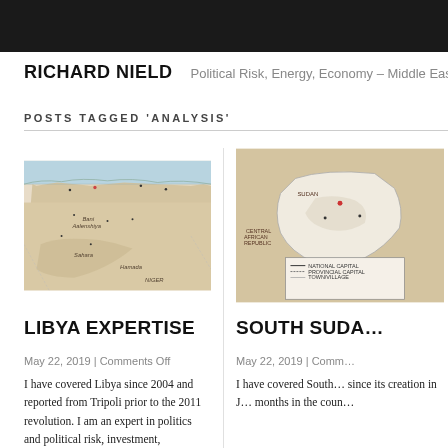RICHARD NIELD
Political Risk, Energy, Economy – Middle East & Afri…
POSTS TAGGED 'ANALYSIS'
[Figure (map): Map of Libya showing cities, regions, and neighboring countries including Niger]
LIBYA EXPERTISE
May 22, 2019 | Comments Off
I have covered Libya since 2004 and reported from Tripoli prior to the 2011 revolution. I am an expert in politics and political risk, investment,
[Figure (map): Map of South Sudan and surrounding region including Central African Republic and Democratic Republic of Congo]
SOUTH SUDA…
May 22, 2019 | Comm…
I have covered South… since its creation in J… months in the coun…